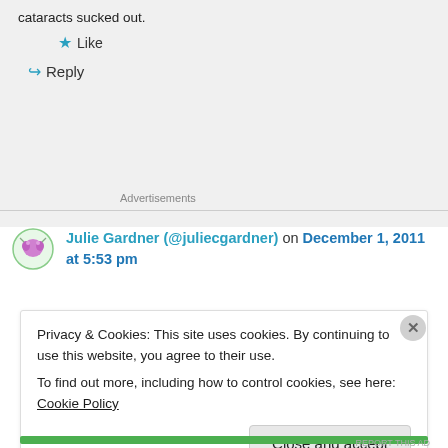cataracts sucked out.
Like
Reply
Advertisements
Julie Gardner (@juliecgardner) on December 1, 2011 at 5:53 pm
Privacy & Cookies: This site uses cookies. By continuing to use this website, you agree to their use.
To find out more, including how to control cookies, see here: Cookie Policy
Close and accept